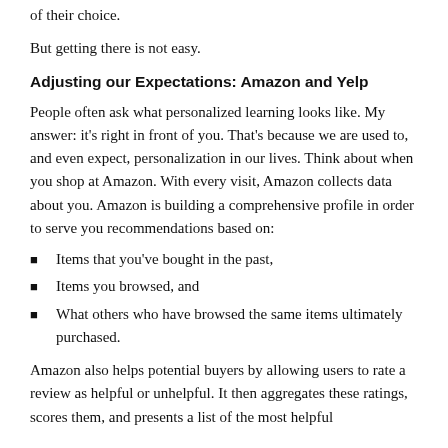of their choice.
But getting there is not easy.
Adjusting our Expectations: Amazon and Yelp
People often ask what personalized learning looks like. My answer: it's right in front of you. That's because we are used to, and even expect, personalization in our lives. Think about when you shop at Amazon. With every visit, Amazon collects data about you. Amazon is building a comprehensive profile in order to serve you recommendations based on:
Items that you've bought in the past,
Items you browsed, and
What others who have browsed the same items ultimately purchased.
Amazon also helps potential buyers by allowing users to rate a review as helpful or unhelpful. It then aggregates these ratings, scores them, and presents a list of the most helpful